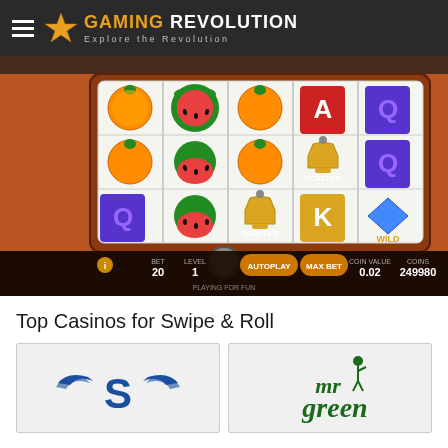GAMING REVOLUTION — Explore the Revolution
[Figure (screenshot): Swipe & Roll slot machine game screenshot showing 5-reel slot with fruit symbols (oranges, watermelons), card symbols (A, Q, K), scatter bell symbol, wild diamond symbol. Game controls show BET 20, LEVEL 1, AUTOPLAY, MAX BET, COIN VALUE 0.02, COINS 249980. Playing for fun mode.]
Top Casinos for Swipe & Roll
[Figure (logo): Superseven casino logo — stylized blue S with wings]
[Figure (logo): Mr Green casino logo — green cursive text with golfer figure]